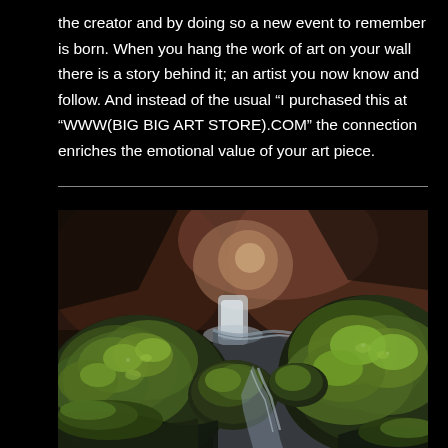the creator and by doing so a new event to remember is born. When you hang the work of art on your wall there is a story behind it; an artist you now know and follow. And instead of the usual “I purchased this at “WWW(BIG BIG ART STORE).COM” the connection enriches the emotional value of your art piece.
[Figure (photo): Landscape photograph of moss-covered boulders and rocks with a small waterfall stream flowing between them, set in a dark gorge or canyon with reddish-brown rocky walls visible in the background. Lush green moss covers the foreground rocks prominently.]